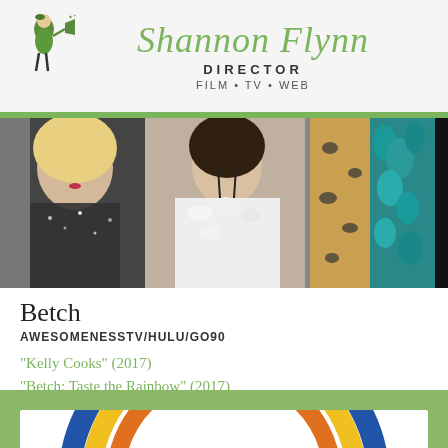Shannon Flynn DIRECTOR FILM • TV • WEB
[Figure (photo): Three women posing in glamorous outfits including sequins, white fur, leopard print, and teal fur.]
Betch
AWESOMENESSTV/HULU/GO90
“Kelly Cooks” (2017)
“Betch: Taste the Rainbow” (2017)
“Hookup Hideout” (2016)
“Betch: Rebecca Black” (2016)
“Miley Presents Gender Fluids” (2016)
[Figure (logo): Partial colorful arc/logo visible at the bottom of the page on a green background.]